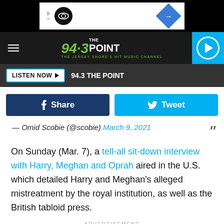[Figure (screenshot): Ad banner with play/close icons and circular logo, plus blue navigation diamond icon on right]
[Figure (logo): 94.3 THE POINT - The Jersey Shore's Hit Music Channel logo with play button]
LISTEN NOW ▶  94.3 THE POINT
Share   Tweet
– Omid Scobie (@scobie) March 9, 2021
On Sunday (Mar. 7), a tell-all sit-down interview with Harry, Meghan and Oprah aired in the U.S. which detailed Harry and Meghan's alleged mistreatment by the royal institution, as well as the British tabloid press.
ADVERTISEMENT